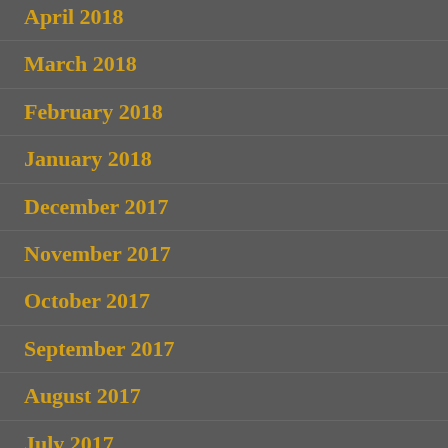April 2018
March 2018
February 2018
January 2018
December 2017
November 2017
October 2017
September 2017
August 2017
July 2017
June 2017
May 2017